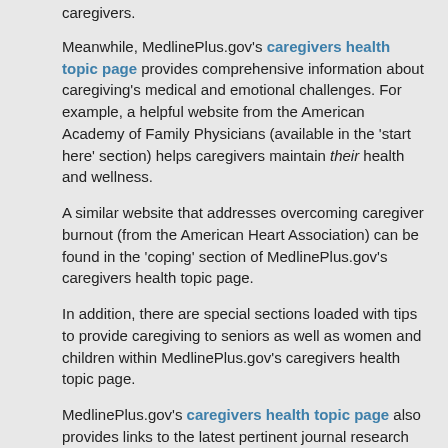caregivers.
Meanwhile, MedlinePlus.gov’s caregivers health topic page provides comprehensive information about caregiving’s medical and emotional challenges. For example, a helpful website from the American Academy of Family Physicians (available in the ‘start here’ section) helps caregivers maintain their health and wellness.
A similar website that addresses overcoming caregiver burnout (from the American Heart Association) can be found in the ‘coping’ section of MedlinePlus.gov’s caregivers health topic page.
In addition, there are special sections loaded with tips to provide caregiving to seniors as well as women and children within MedlinePlus.gov’s caregivers health topic page.
MedlinePlus.gov’s caregivers health topic page also provides links to the latest pertinent journal research articles, which are available in the ‘journal articles’ section. Links to clinical trials that may be occurring in your area are available in the ‘clinical trials’ section. You can sign up to receive updates about caregiving as they become available on MedlinePlus.gov.
To find MedlinePlus.gov’s caregivers health topic page, type ‘caregiver’ in the search box on MedlinePlus.gov’s home page. The ...